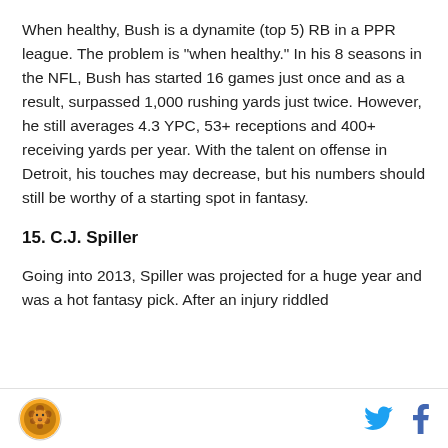When healthy, Bush is a dynamite (top 5) RB in a PPR league. The problem is "when healthy." In his 8 seasons in the NFL, Bush has started 16 games just once and as a result, surpassed 1,000 rushing yards just twice. However, he still averages 4.3 YPC, 53+ receptions and 400+ receiving yards per year. With the talent on offense in Detroit, his touches may decrease, but his numbers should still be worthy of a starting spot in fantasy.
15. C.J. Spiller
Going into 2013, Spiller was projected for a huge year and was a hot fantasy pick. After an injury riddled